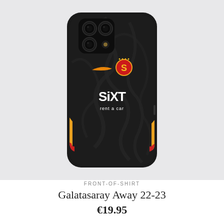[Figure (photo): A black iPhone case featuring the Galatasaray Away 22-23 jersey design. The case has a dark textured pattern resembling the football shirt, with the Nike swoosh logo in orange, the Galatasaray club crest in red/yellow/gold, the SIXT rent a car sponsor logo in white, and orange/red accent stripes on the sides. The phone case shows the triple camera cutout at the top.]
FRONT-OF-SHIRT
Galatasaray Away 22-23
€19.95